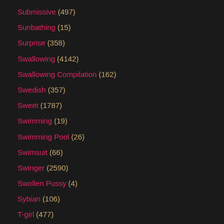Submissive (497)
Sunbathing (15)
Surprise (358)
Swallowing (4142)
Swallowing Compilation (162)
Swedish (357)
Sweet (1787)
Swimming (19)
Swimming Pool (26)
Swimsuit (66)
Swinger (2590)
Swollen Pussy (4)
Sybian (106)
T-girl (477)
Taboo (488)
Tall (380)